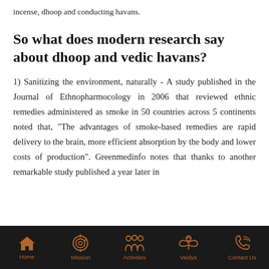incense, dhoop and conducting havans.
So what does modern research say about dhoop and vedic havans?
1) Sanitizing the environment, naturally - A study published in the Journal of Ethnopharmocology in 2006 that reviewed ethnic remedies administered as smoke in 50 countries across 5 continents noted that, "The advantages of smoke-based remedies are rapid delivery to the brain, more efficient absorption by the body and lower costs of production". Greenmedinfo notes that thanks to another remarkable study published a year later in
Home | Mission | Activities | Vaidya | Contact Us